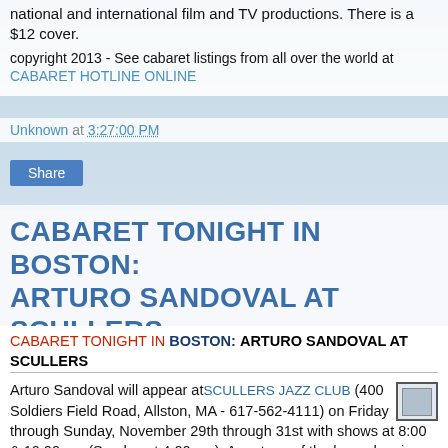national and international film and TV productions. There is a $12 cover.
copyright 2013 - See cabaret listings from all over the world at CABARET HOTLINE ONLINE
Unknown at 3:27:00 PM
Share
CABARET TONIGHT IN BOSTON: ARTURO SANDOVAL AT SCULLERS
CABARET TONIGHT IN BOSTON: ARTURO SANDOVAL AT SCULLERS
Arturo Sandoval will appear at SCULLERS JAZZ CLUB (400 Soldiers Field Road, Allston, MA - 617-562-4111) on Friday through Sunday, November 29th through 31st with shows at 8:00 & 10:00 pm (Sunday at 4:00 pm). A protege of the legendary jazz master Dizzy Gillespie, Sandoval was born in Artemisa, a small town in the outskirts of Havana, Cuba, on November 6, 1949, just two years after